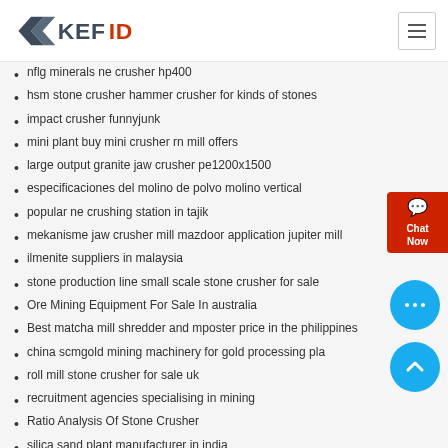KEFID logo and navigation
nflg minerals ne crusher hp400
hsm stone crusher hammer crusher for kinds of stones
impact crusher funnyjunk
mini plant buy mini crusher rn mill offers
large output granite jaw crusher pe1200x1500
especificaciones del molino de polvo molino vertical
popular ne crushing station in tajik
mekanisme jaw crusher mill mazdoor application jupiter mill
ilmenite suppliers in malaysia
stone production line small scale stone crusher for sale
Ore Mining Equipment For Sale In australia
Best matcha mill shredder and mposter price in the philippines
china scmgold mining machinery for gold processing pla
roll mill stone crusher for sale uk
recruitment agencies specialising in mining
Ratio Analysis Of Stone Crusher
silica sand plant manufacturer in india
Crushers Ember Di Kuching Malaysia
contact us
Tel :0086-371-67988500